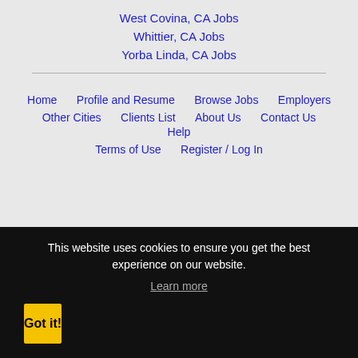West Covina, CA Jobs
Whittier, CA Jobs
Yorba Linda, CA Jobs
Home
Profile and Resume
Browse Jobs
Employers
Other Cities
Clients List
About Us
Contact Us
Help
Terms of Use
Register / Log In
This website uses cookies to ensure you get the best experience on our website.
Learn more
Got it!